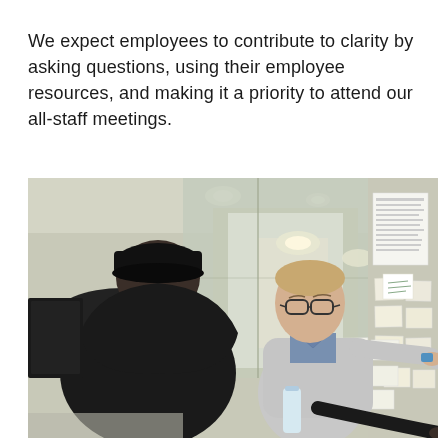We expect employees to contribute to clarity by asking questions, using their employee resources, and making it a priority to attend our all-staff meetings.
[Figure (photo): Two employees in an office environment pointing at sticky notes and papers attached to a glass wall/whiteboard. One person wears a black cap and dark hoodie, the other wears glasses and a light grey sweater over a collared shirt.]